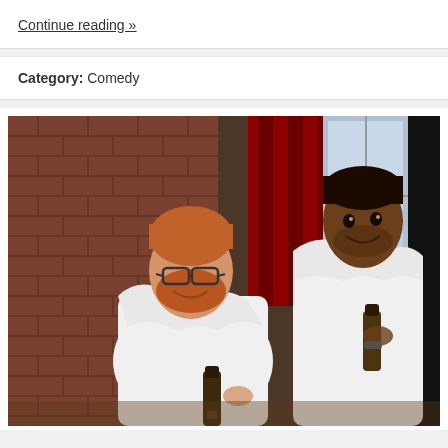Continue reading »
Category: Comedy
[Figure (photo): Two men dressed in white togas/sheets at a party, each holding a beer bottle, standing in front of a brick wall with red curtains in the background. The man on the left has red hair and a beard with glasses; the man on the right is taller with dark hair.]